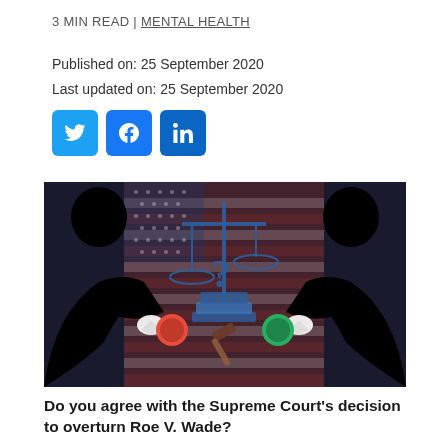3 MIN READ | MENTAL HEALTH
Published on: 25 September 2020
Last updated on: 25 September 2020
[Figure (illustration): Social media share buttons: Twitter, Facebook, LinkedIn in blue rounded squares]
[Figure (illustration): Image showing two silhouetted figures pressing red and green buttons, with scales of justice, a question mark, a gavel, books, and an American flag background]
Do you agree with the Supreme Court's decision to overturn Roe V. Wade?